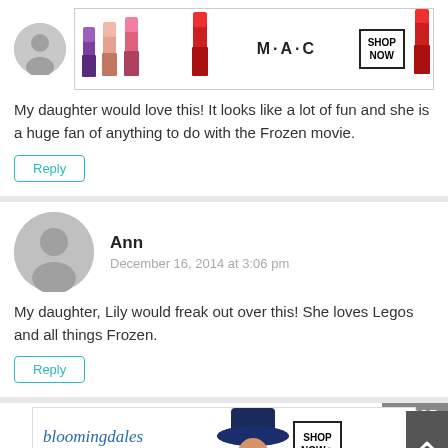[Figure (photo): M·A·C cosmetics advertisement banner with lipsticks and SHOP NOW button]
My daughter would love this! It looks like a lot of fun and she is a huge fan of anything to do with the Frozen movie.
Reply
Ann
December 16, 2014 at 3:06 pm
My daughter, Lily would freak out over this! She loves Legos and all things Frozen.
Reply
CLOSE
[Figure (photo): Bloomingdale's advertisement with woman in hat and SHOP NOW button]